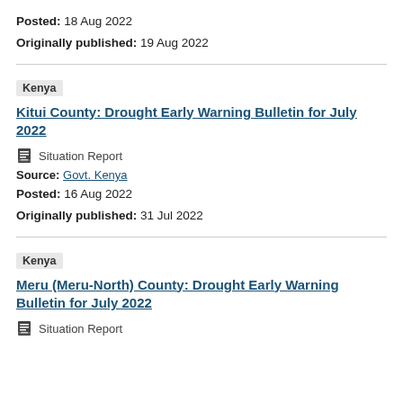Posted: 18 Aug 2022
Originally published: 19 Aug 2022
Kenya  Kitui County: Drought Early Warning Bulletin for July 2022
Situation Report
Source: Govt. Kenya
Posted: 16 Aug 2022
Originally published: 31 Jul 2022
Kenya  Meru (Meru-North) County: Drought Early Warning Bulletin for July 2022
Situation Report